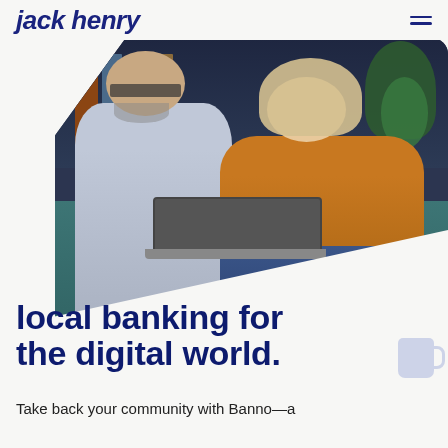jack henry
[Figure (photo): A man and woman sitting on a teal sofa, smiling and looking at a laptop together. The man has grey hair and a beard and glasses, wearing a grey sweater. The woman has blonde hair and wears a mustard/burnt orange top. Background shows dark bookshelves and a plant.]
local banking for the digital world.
Take back your community with Banno—a